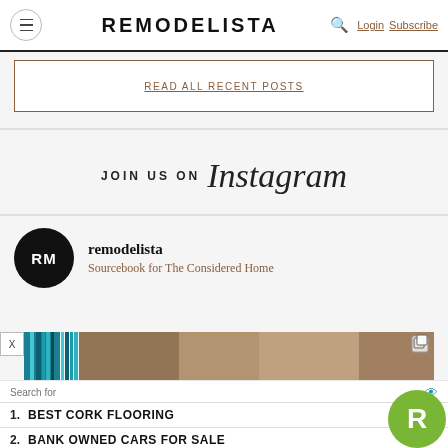REMODELISTA — Login Subscribe
READ ALL RECENT POSTS
JOIN US ON Instagram
remodelista
Sourcebook for The Considered Home
[Figure (screenshot): Advertisement banner with teal and brown gradient colors and a copy icon]
Search for
1. BEST CORK FLOORING
2. BANK OWNED CARS FOR SALE
[Figure (logo): Green circle with white R letter — Rocket Mortgage logo]